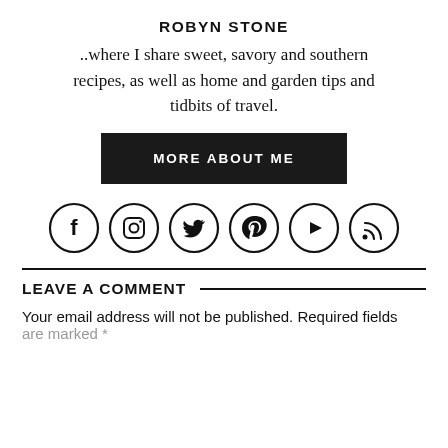ROBYN STONE
..where I share sweet, savory and southern recipes, as well as home and garden tips and tidbits of travel.
[Figure (other): Black button labeled MORE ABOUT ME]
[Figure (other): Row of 6 social media icons in circles: Facebook, Instagram, Twitter, Pinterest, YouTube, RSS]
LEAVE A COMMENT
Your email address will not be published. Required fields are marked *